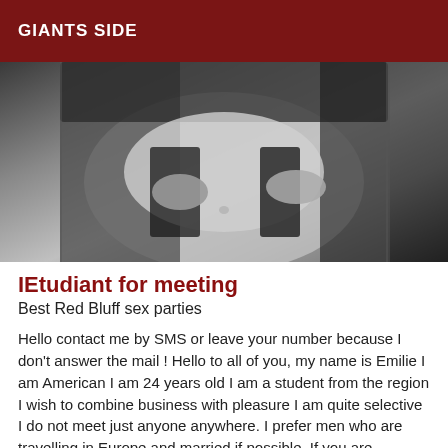GIANTS SIDE
[Figure (photo): Black and white close-up photo of a person's torso in dark lingerie, hands visible holding the fabric]
IEtudiant for meeting
Best Red Bluff sex parties
Hello contact me by SMS or leave your number because I don't answer the mail ! Hello to all of you, my name is Emilie I am American I am 24 years old I am a student from the region I wish to combine business with pleasure I am quite selective I do not meet just anyone anywhere. I prefer men who are travelling in Europe and married if possible. If you are interested send me a message with